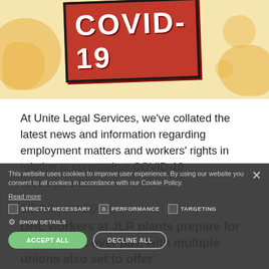[Figure (illustration): COVID-19 red sign/stamp graphic on a beige background with orange blob shapes, partially cropped at the top of the page.]
At Unite Legal Services, we've collated the latest news and information regarding employment matters and workers' rights in relation to coronavirus COVID-19 developments.
10 August 2021
DHL workers at JLR plants prepare for strike ballot over pay, with multiple unions also set to offer
DHL workers at Jaguar Land Rover (JLR) plants in the West Midlands and Merseyside are preparing to be balloted for strike action over wage arrears and